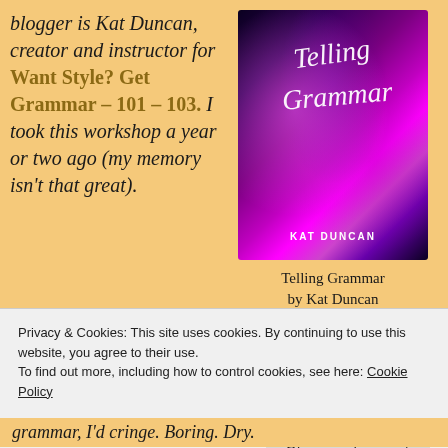blogger is Kat Duncan, creator and instructor for Want Style? Get Grammar – 101 – 103. I took this workshop a year or two ago (my memory isn't that great).
[Figure (illustration): Book cover of 'Telling Grammar' by Kat Duncan, featuring purple and magenta flowers on a dark background with cursive title text.]
Telling Grammar by Kat Duncan
Privacy & Cookies: This site uses cookies. By continuing to use this website, you agree to their use. To find out more, including how to control cookies, see here: Cookie Policy
grammar, I'd cringe. Boring. Dry.